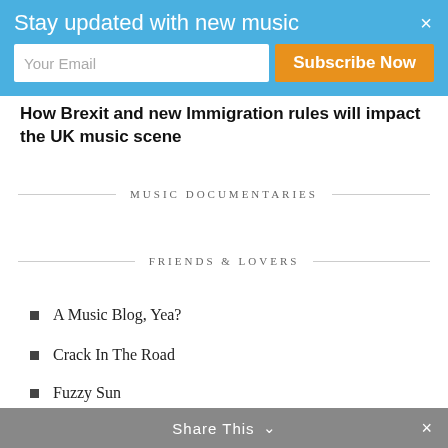Stay updated with new music
Your Email
Subscribe Now
How Brexit and new Immigration rules will impact the UK music scene
MUSIC DOCUMENTARIES
FRIENDS & LOVERS
A Music Blog, Yea?
Crack In The Road
Fuzzy Sun
Sodwee
Kick Kick Snare
Share This ∨ ×